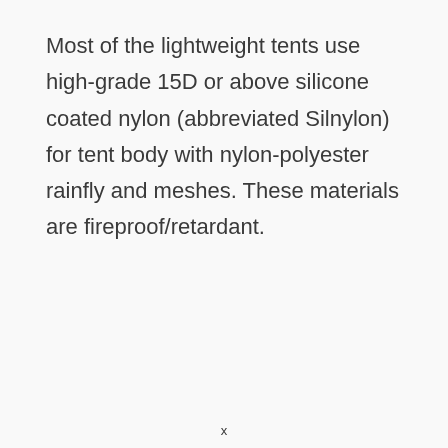Most of the lightweight tents use high-grade 15D or above silicone coated nylon (abbreviated Silnylon) for tent body with nylon-polyester rainfly and meshes. These materials are fireproof/retardant.
x